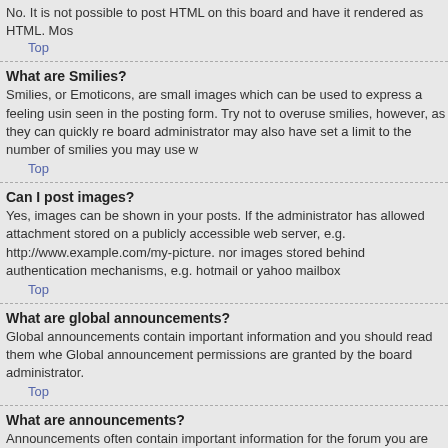No. It is not possible to post HTML on this board and have it rendered as HTML. Mos
Top
What are Smilies?
Smilies, or Emoticons, are small images which can be used to express a feeling usin seen in the posting form. Try not to overuse smilies, however, as they can quickly re board administrator may also have set a limit to the number of smilies you may use w
Top
Can I post images?
Yes, images can be shown in your posts. If the administrator has allowed attachment stored on a publicly accessible web server, e.g. http://www.example.com/my-picture. nor images stored behind authentication mechanisms, e.g. hotmail or yahoo mailbox
Top
What are global announcements?
Global announcements contain important information and you should read them whe Global announcement permissions are granted by the board administrator.
Top
What are announcements?
Announcements often contain important information for the forum you are currently r every page in the forum to which they are posted. As with global announcements, an
Top